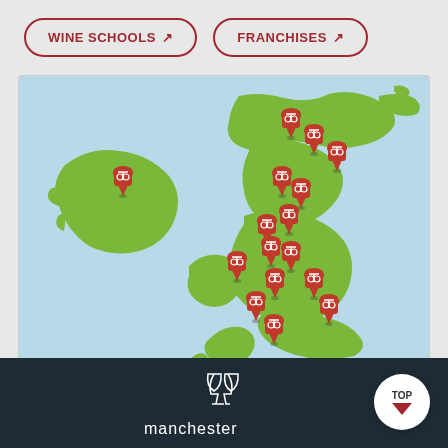WINE SCHOOLS [external link]
FRANCHISES [external link]
[Figure (map): An illustrated isometric-style map of the British Isles (UK and Ireland) in green on a light blue background, with multiple red map pin markers bearing a wine glass icon placed at various cities/locations across England, Scotland, Wales, and Ireland, indicating wine school or franchise locations.]
[Figure (logo): Manchester Wine School logo at the bottom footer: wine glass icons above stylized text reading 'manchester' in white on a dark navy background. A circular 'TOP' button with a red downward arrow is in the bottom right corner.]